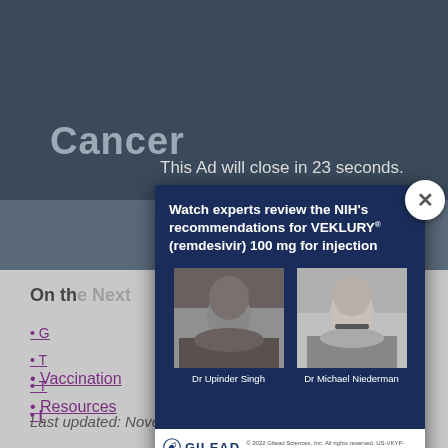Cancer
This Ad will close in 23 seconds.
On th
Vaccination
Resources
Last updated: November 5, 2020
[Figure (screenshot): Gilead advertisement modal overlay showing two doctors (Dr Upinder Singh and Dr Michael Niederman) with headline 'Watch experts review the NIH’s recommendations for VEKLURY® (remdesivir) 100 mg for injection', Gilead logo, copyright 2022 Gilead Sciences Inc., US-VKYP-0172 06/22]